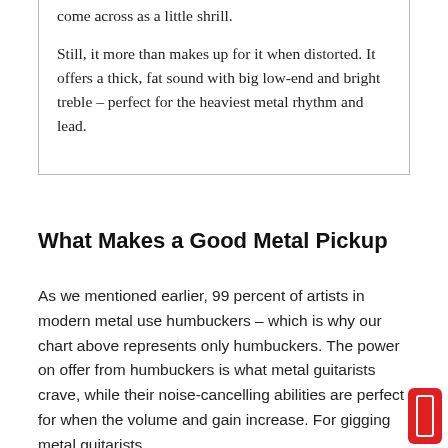come across as a little shrill.

Still, it more than makes up for it when distorted. It offers a thick, fat sound with big low-end and bright treble – perfect for the heaviest metal rhythm and lead.
What Makes a Good Metal Pickup
As we mentioned earlier, 99 percent of artists in modern metal use humbuckers – which is why our chart above represents only humbuckers. The power on offer from humbuckers is what metal guitarists crave, while their noise-cancelling abilities are perfect for when the volume and gain increase. For gigging metal guitarists,